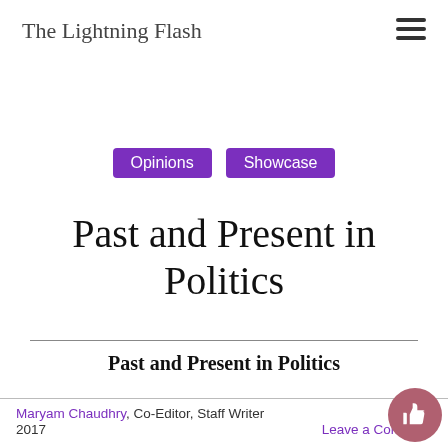The Lightning Flash
Opinions  Showcase
Past and Present in Politics
Past and Present in Politics
Maryam Chaudhry, Co-Editor, Staff Writer  April 5, 2017  Leave a Comment